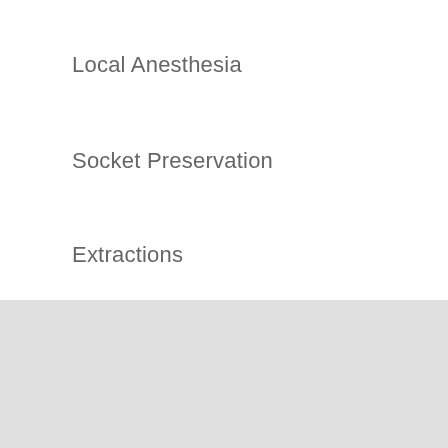Local Anesthesia
Socket Preservation
Extractions
Services We Offer
Cosmetic Dentistry